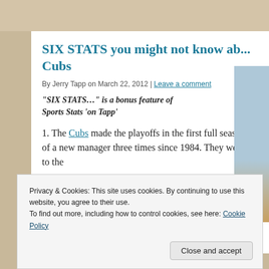SIX STATS you might not know ab... Cubs
By Jerry Tapp on March 22, 2012 | Leave a comment
"SIX STATS…" is a bonus feature of Sports Stats 'on Tapp'
1. The Cubs made the playoffs in the first full season of a new manager three times since 1984. They went to the
Privacy & Cookies: This site uses cookies. By continuing to use this website, you agree to their use.
To find out more, including how to control cookies, see here: Cookie Policy
Close and accept